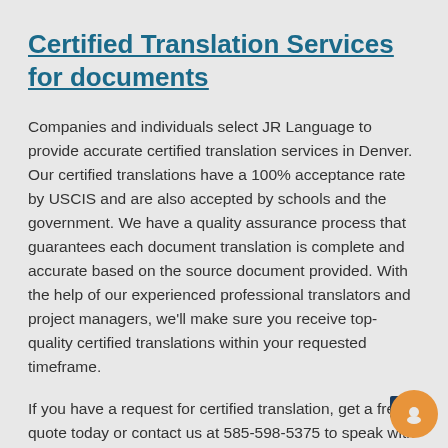Certified Translation Services for documents
Companies and individuals select JR Language to provide accurate certified translation services in Denver. Our certified translations have a 100% acceptance rate by USCIS and are also accepted by schools and the government. We have a quality assurance process that guarantees each document translation is complete and accurate based on the source document provided. With the help of our experienced professional translators and project managers, we'll make sure you receive top-quality certified translations within your requested timeframe.
If you have a request for certified translation, get a free quote today or contact us at 585-598-5375 to speak with our team.